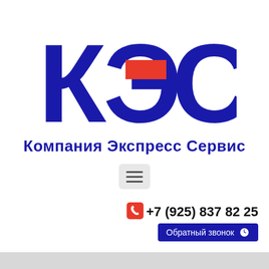[Figure (logo): КЭС logo — large dark blue Cyrillic letters К, Э, С with a red rectangle accent on the Э letter]
Компания Экспресс Сервис
[Figure (other): Hamburger menu button (three horizontal lines) on a light gray rounded rectangle background]
+7 (925) 837 82 25
Обратный звонок
Space Wars — 433 usdt